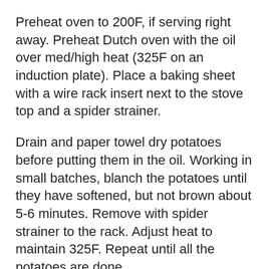Preheat oven to 200F, if serving right away. Preheat Dutch oven with the oil over med/high heat (325F on an induction plate). Place a baking sheet with a wire rack insert next to the stove top and a spider strainer.
Drain and paper towel dry potatoes before putting them in the oil. Working in small batches, blanch the potatoes until they have softened, but not brown about 5-6 minutes. Remove with spider strainer to the rack. Adjust heat to maintain 325F. Repeat until all the potatoes are done.
Increase heat to 375F or high. Rework in small batches (Warning: to many fries will make the oil boil over. Believe me I know from personal experience) fry until crispy and golden brown. Remove with spider